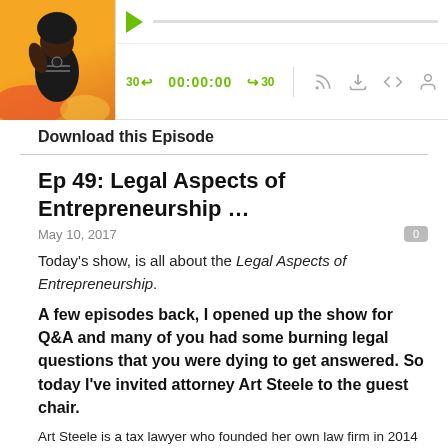[Figure (screenshot): Podcast player interface with thumbnail image of a woman, playback controls showing 00:00:00, skip 30s buttons, and media icons]
Download this Episode
Ep 49: Legal Aspects of Entrepreneurship …
May 10, 2017
Today's show, is all about the Legal Aspects of Entrepreneurship.
A few episodes back, I opened up the show for Q&A and many of you had some burning legal questions that you were dying to get answered. So today I've invited attorney Art Steele to the guest chair.
Art Steele is a tax lawyer who founded her own law firm in 2014 with practice areas in: small business counseling, international trusts and estate planning, immigration, and foreign tax compliance.
Before launching her law firm, Art began her legal career as a transactional tax associate at Skadden, Arps, Slate, Meagher & Flom in Washington, D.C.